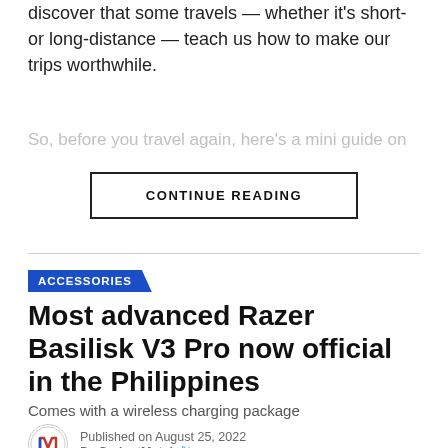discover that some travels — whether it's short- or long-distance — teach us how to make our trips worthwhile.
So, before you travel again, here's a mini guide on
CONTINUE READING
ACCESSORIES
Most advanced Razer Basilisk V3 Pro now official in the Philippines
Comes with a wireless charging package
Published on August 25, 2022 By GadgetMatch